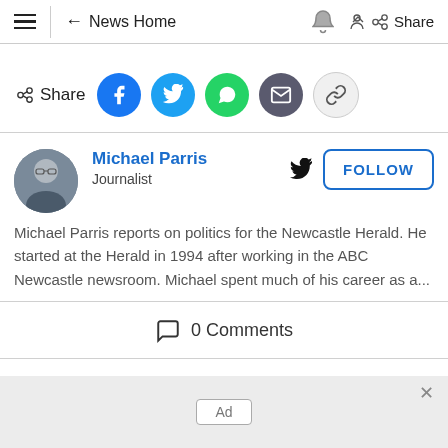≡ ← News Home 🔔 Share
Share
[Figure (infographic): Social sharing icons: Facebook (blue), Twitter (light blue), WhatsApp (green), Email (dark grey), Link (light grey)]
[Figure (photo): Circular profile photo of Michael Parris, a grey-haired man in a dark shirt with arms crossed]
Michael Parris
Journalist
FOLLOW
Michael Parris reports on politics for the Newcastle Herald. He started at the Herald in 1994 after working in the ABC Newcastle newsroom. Michael spent much of his career as a...
0 Comments
Ad